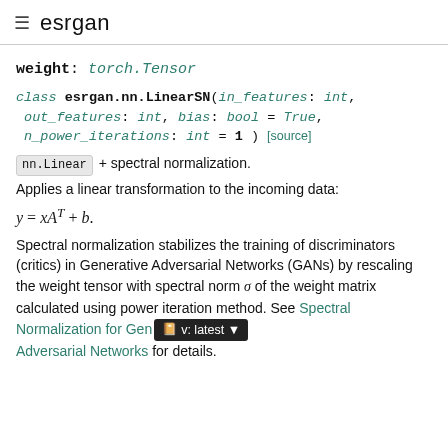≡ esrgan
weight: torch.Tensor
class esrgan.nn.LinearSN(in_features: int, out_features: int, bias: bool = True, n_power_iterations: int = 1) [source]
nn.Linear + spectral normalization.
Applies a linear transformation to the incoming data:
Spectral normalization stabilizes the training of discriminators (critics) in Generative Adversarial Networks (GANs) by rescaling the weight tensor with spectral norm σ of the weight matrix calculated using power iteration method. See Spectral Normalization for Generative Adversarial Networks for details.